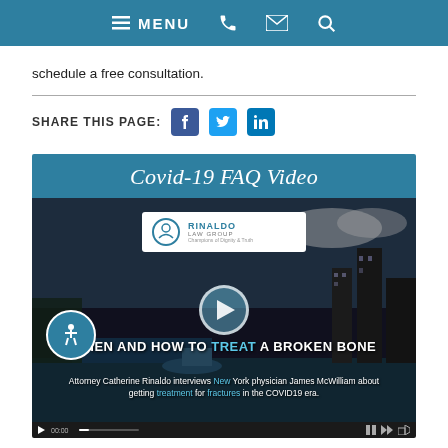MENU
schedule a free consultation.
SHARE THIS PAGE:
[Figure (screenshot): Covid-19 FAQ Video section with teal header bar and embedded video thumbnail showing 'WHEN AND HOW TO TREAT A BROKEN BONE' with Rinaldo Law Group logo and play button overlay, city waterfront background]
Attorney Catherine Rinaldo interviews New York physician James McWilliam about getting treatment for fractures in the COVID19 era.